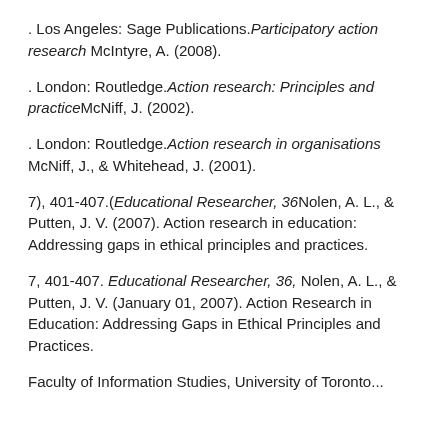. Los Angeles: Sage Publications. Participatory action research McIntyre, A. (2008).
. London: Routledge. Action research: Principles and practice McNiff, J. (2002).
. London: Routledge. Action research in organisations McNiff, J., & Whitehead, J. (2001).
7), 401-407.(Educational Researcher, 36 Nolen, A. L., & Putten, J. V. (2007). Action research in education: Addressing gaps in ethical principles and practices.
7, 401-407. Educational Researcher, 36, Nolen, A. L., & Putten, J. V. (January 01, 2007). Action Research in Education: Addressing Gaps in Ethical Principles and Practices.
Faculty of Information Studies, University of Toronto...